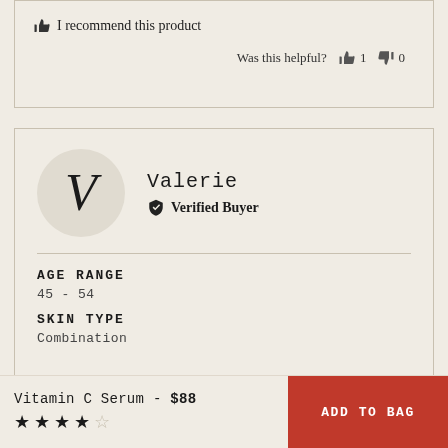👍 I recommend this product
Was this helpful? 👍 1 👎 0
Valerie
✔ Verified Buyer
AGE RANGE
45 - 54
SKIN TYPE
Combination
Vitamin C Serum - $88 ★★★★☆
ADD TO BAG